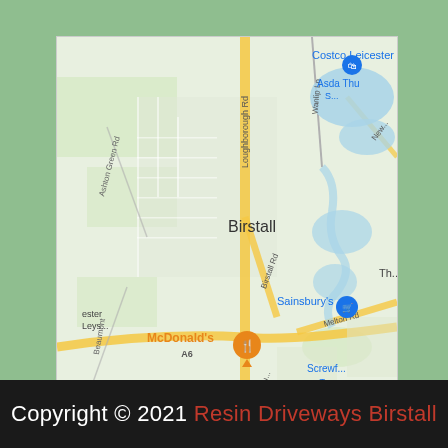[Figure (map): Google Maps screenshot showing Birstall area in Leicestershire, UK. Shows landmarks including Costco Leicester, Asda, Sainsbury's, McDonald's, Screwfix, with roads including Loughborough Rd, Birstall Rd, Melton Rd, Wanlip Ln, A6, and Beaumont Road. Water features visible in blue on right side.]
Copyright © 2021 Resin Driveways Birstall